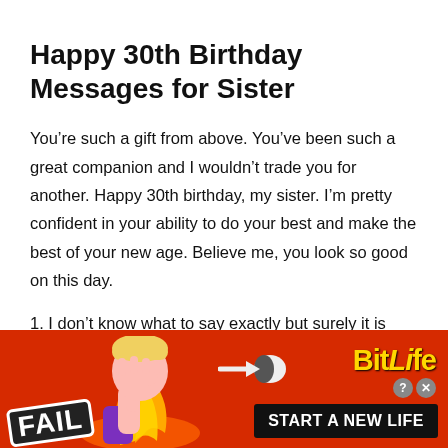Happy 30th Birthday Messages for Sister
You’re such a gift from above. You’ve been such a great companion and I wouldn’t trade you for another. Happy 30th birthday, my sister. I’m pretty confident in your ability to do your best and make the best of your new age. Believe me, you look so good on this day.
1. I don’t know what to say exactly but surely it is
[Figure (infographic): BitLife mobile game advertisement banner with red/fire background, 'FAIL' badge, anime character covering face, flame graphics, arrow with pill shape, BitLife yellow logo text, and 'START A NEW LIFE' button in black bar.]